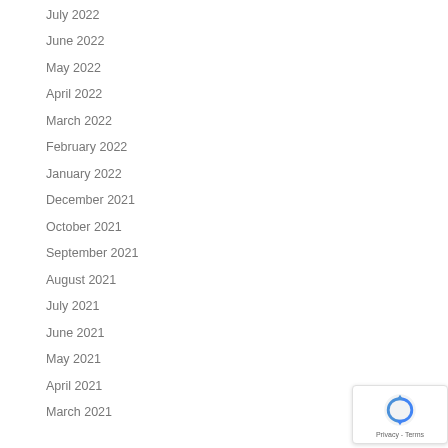July 2022
June 2022
May 2022
April 2022
March 2022
February 2022
January 2022
December 2021
October 2021
September 2021
August 2021
July 2021
June 2021
May 2021
April 2021
March 2021